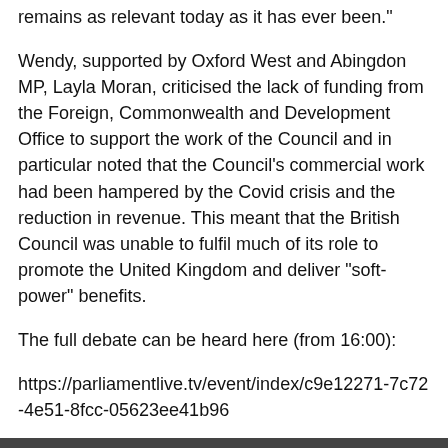remains as relevant today as it has ever been."
Wendy, supported by Oxford West and Abingdon MP, Layla Moran, criticised the lack of funding from the Foreign, Commonwealth and Development Office to support the work of the Council and in particular noted that the Council's commercial work had been hampered by the Covid crisis and the reduction in revenue. This meant that the British Council was unable to fulfil much of its role to promote the United Kingdom and deliver "soft-power" benefits.
The full debate can be heard here (from 16:00):
https://parliamentlive.tv/event/index/c9e12271-7c72-4e51-8fcc-05623ee41b96